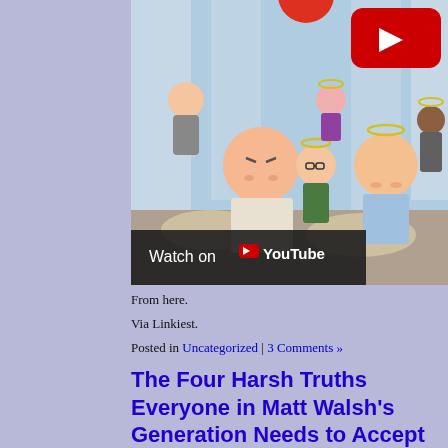[Figure (screenshot): YouTube embedded video thumbnail showing animated cartoon characters in heaven/afterlife scene with halos. Shows 'Watch on YouTube' bar at the bottom and YouTube play button overlay in top right corner.]
From here.
Via Linkiest.
Posted in Uncategorized | 3 Comments »
The Four Harsh Truths Everyone in Matt Walsh's Generation Needs to Accept
Sunday, May 18th, 2014
Sooner rather than later…